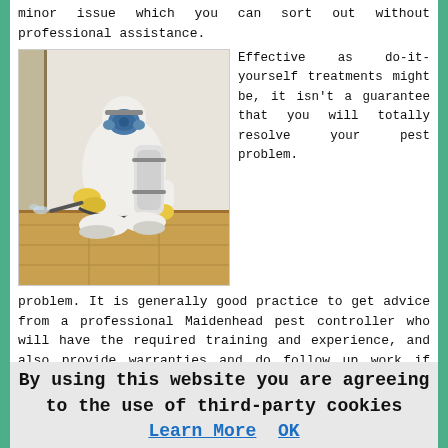minor issue which you can sort out without professional assistance.
[Figure (photo): A pest control technician wearing a white protective suit, blue respirator mask, and yellow gloves, crouching and spraying pesticide along a baseboard with a pressurized sprayer.]
Effective as do-it-yourself treatments might be, it isn't a guarantee that you will totally resolve your pest problem. It is generally good practice to get advice from a professional Maidenhead pest controller who will have the required training and experience, and also provide warranties and do follow up work if necessary.
There are plenty of pest control products including humane traps available for both do-it-yourself and professional treatments, and these can be discussed with your pest control provider during the initial on-site survey. A do it
By using this website you are agreeing to the use of third-party cookies Learn More OK